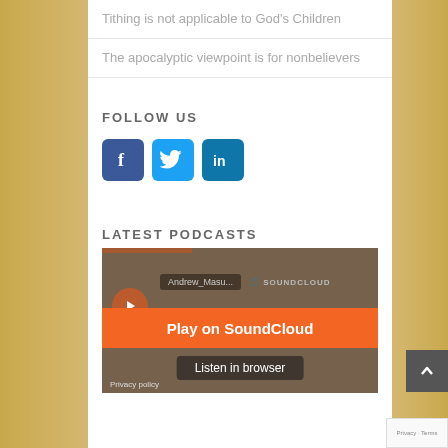Tithing is not applicable to God's Children
The apocalyptic viewpoint is for nonbelievers
FOLLOW US
[Figure (other): Social media icons: Facebook (blue), Twitter (light blue), LinkedIn (blue)]
LATEST PODCASTS
[Figure (screenshot): SoundCloud embed player showing Andrew Masu... track with Play on SoundCloud and Listen in browser buttons, and Privacy policy link]